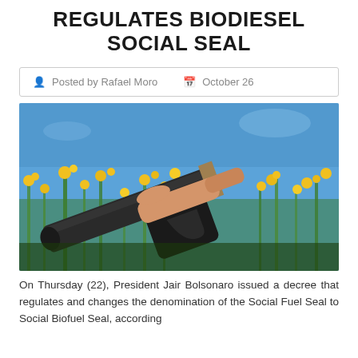REGULATES BIODIESEL SOCIAL SEAL
Posted by Rafael Moro   October 26
[Figure (photo): A hand holding a fuel pump nozzle against a background of yellow rapeseed flowers and blue sky, representing biodiesel.]
On Thursday (22), President Jair Bolsonaro issued a decree that regulates and changes the denomination of the Social Fuel Seal to Social Biofuel Seal, according